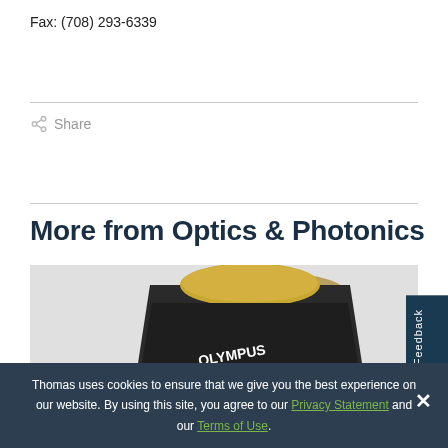Fax: (708) 293-6339
Share
More from Optics & Photonics
[Figure (photo): Olympus MXPlanFL N 20x/0.60 microscope objective lens with green band, dark metallic body with gold top]
Feedback
Thomas uses cookies to ensure that we give you the best experience on our website. By using this site, you agree to our Privacy Statement and our Terms of Use.